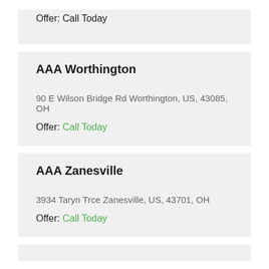Offer: Call Today
AAA Worthington
90 E Wilson Bridge Rd Worthington, US, 43085, OH
Offer: Call Today
AAA Zanesville
3934 Taryn Trce Zanesville, US, 43701, OH
Offer: Call Today